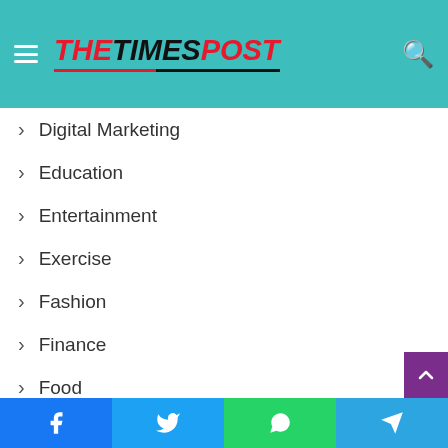THE TIMES POST
Digital Marketing
Education
Entertainment
Exercise
Fashion
Finance
Food
Games
Health
Home Improvement
Law
Lifestyle
Facebook | Twitter | WhatsApp | Telegram